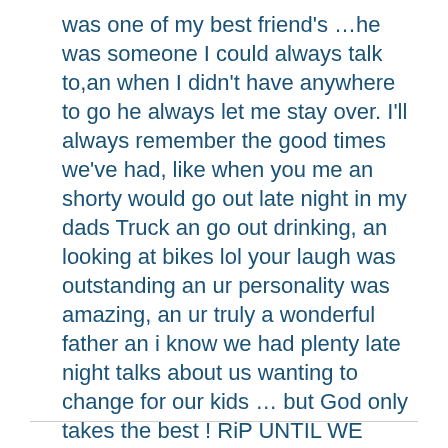was one of my best friend's ...he was someone I could always talk to,an when I didn't have anywhere to go he always let me stay over. I'll always remember the good times we've had, like when you me an shorty would go out late night in my dads Truck an go out drinking, an looking at bikes lol your laugh was outstanding an ur personality was amazing, an ur truly a wonderful father an i know we had plenty late night talks about us wanting to change for our kids ... but God only takes the best ! RiP UNTIL WE MEET AGAIN I LOVE YOU KELLEY RYAN WEBSTER ULL FOREVER ALWAYS BE MISSED -jackie Mansfield